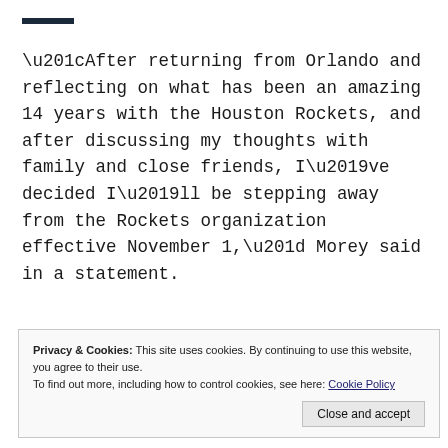“After returning from Orlando and reflecting on what has been an amazing 14 years with the Houston Rockets, and after discussing my thoughts with family and close friends, I’ve decided I’ll be stepping away from the Rockets organization effective November 1,” Morey said in a statement.
Privacy & Cookies: This site uses cookies. By continuing to use this website, you agree to their use. To find out more, including how to control cookies, see here: Cookie Policy